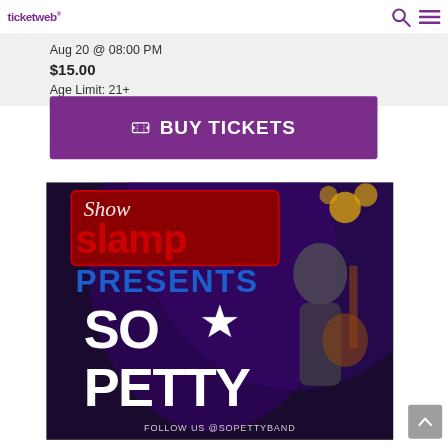ticketweb
Aug 20 @ 08:00 PM
$15.00
Age Limit: 21+
BUY TICKETS
[Figure (photo): Concert event promotional image showing 'Show Slam Presents So Petty' text overlay with a musician playing guitar on stage, text at bottom reads 'FOLLOW US @SOPETTYBAND']